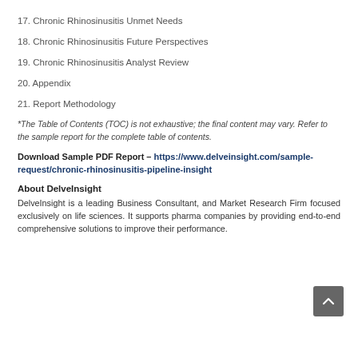17. Chronic Rhinosinusitis Unmet Needs
18. Chronic Rhinosinusitis Future Perspectives
19. Chronic Rhinosinusitis Analyst Review
20. Appendix
21. Report Methodology
*The Table of Contents (TOC) is not exhaustive; the final content may vary. Refer to the sample report for the complete table of contents.
Download Sample PDF Report – https://www.delveinsight.com/sample-request/chronic-rhinosinusitis-pipeline-insight
About DelveInsight
DelveInsight is a leading Business Consultant, and Market Research Firm focused exclusively on life sciences. It supports pharma companies by providing end-to-end comprehensive solutions to improve their performance.